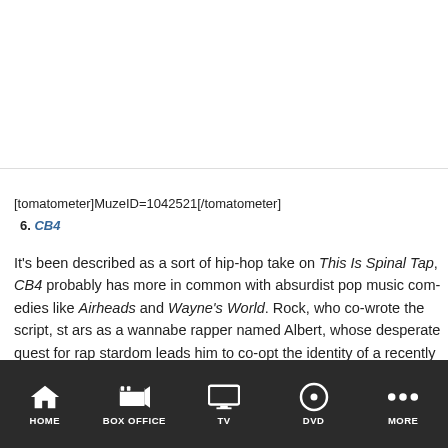[tomatometer]MuzeID=1042521[/tomatometer]
6. CB4
It’s been described as a sort of hip-hop take on This Is Spinal Tap, CB4 probably has more in common with absurdist pop music comedies like Airheads and Wayne’s World. Rock, who co-wrote the script, stars as a wannabe rapper named Albert, whose desperate quest for rap stardom leads him to co-opt the identity of a recently imprisoned gangster (Charlie Murphy) and use his street cred to score hardco
HOME  BOX OFFICE  TV  DVD  MORE